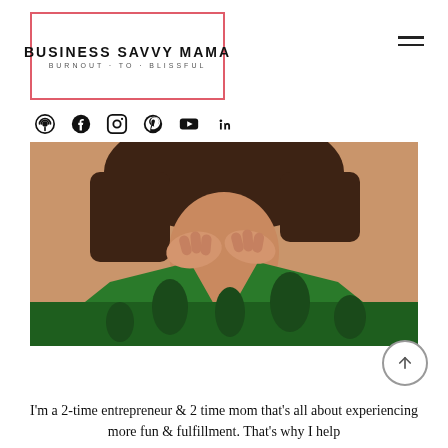[Figure (logo): Business Savvy Mama logo with red border rectangle, bold uppercase text BUSINESS SAVVY MAMA and subtitle BURNOUT · TO · BLISSFUL]
[Figure (other): Hamburger menu icon (three horizontal lines) in top right corner]
[Figure (other): Social media icons row: podcast, Facebook, Instagram, Pinterest, YouTube, LinkedIn]
[Figure (photo): Close-up photo of a woman with dark hair wearing a green tropical-print dress, hands near neckline]
I'm a 2-time entrepreneur & 2 time mom that's all about experiencing more fun & fulfillment. That's why I help